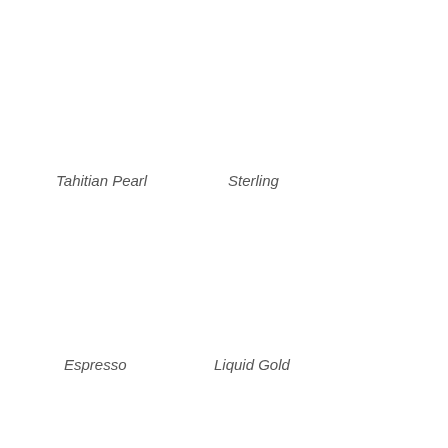Tahitian Pearl
Sterling
Espresso
Liquid Gold